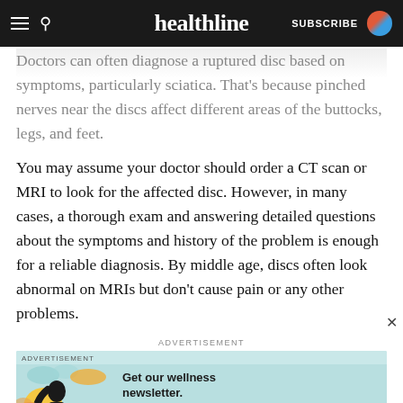healthline | SUBSCRIBE
Doctors can often diagnose a ruptured disc based on symptoms, particularly sciatica. That’s because pinched nerves near the discs affect different areas of the buttocks, legs, and feet.
You may assume your doctor should order a CT scan or MRI to look for the affected disc. However, in many cases, a thorough exam and answering detailed questions about the symptoms and history of the problem is enough for a reliable diagnosis. By middle age, discs often look abnormal on MRIs but don’t cause pain or any other problems.
ADVERTISEMENT
[Figure (infographic): Advertisement banner for Healthline wellness newsletter with illustration of a woman and teal subscribe button]